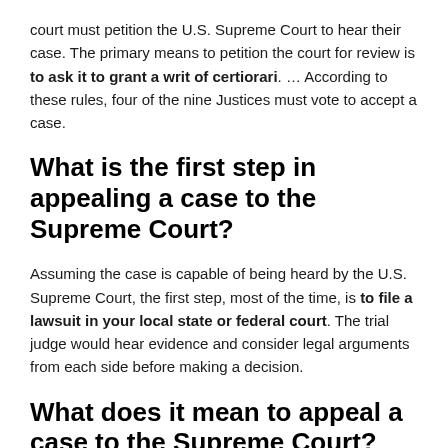court must petition the U.S. Supreme Court to hear their case. The primary means to petition the court for review is to ask it to grant a writ of certiorari. … According to these rules, four of the nine Justices must vote to accept a case.
What is the first step in appealing a case to the Supreme Court?
Assuming the case is capable of being heard by the U.S. Supreme Court, the first step, most of the time, is to file a lawsuit in your local state or federal court. The trial judge would hear evidence and consider legal arguments from each side before making a decision.
What does it mean to appeal a case to the Supreme Court?